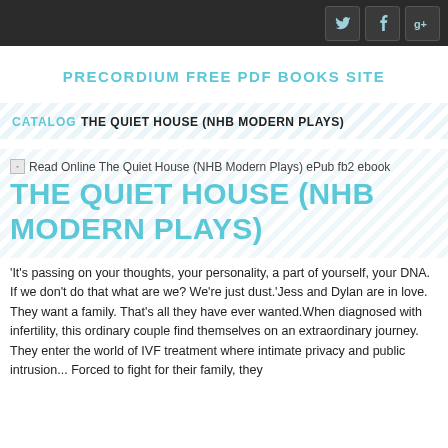Navigation bar with social icons (Twitter, Facebook, Google+)
PRECORDIUM FREE PDF BOOKS SITE
CATALOG THE QUIET HOUSE (NHB MODERN PLAYS)
Read Online The Quiet House (NHB Modern Plays) ePub fb2 ebook
THE QUIET HOUSE (NHB MODERN PLAYS)
'It's passing on your thoughts, your personality, a part of yourself, your DNA. If we don't do that what are we? We're just dust.'Jess and Dylan are in love. They want a family. That's all they have ever wanted.When diagnosed with infertility, this ordinary couple find themselves on an extraordinary journey. They enter the world of IVF treatment where intimate privacy and public intrusion... Forced to fight for their family, they